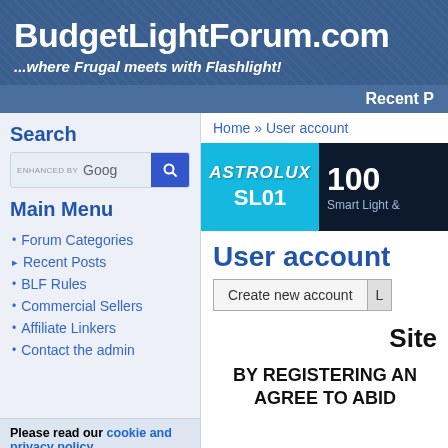BudgetLightForum.com
...where Frugal meets with Flashlight!
Recent P
Search
ENHANCED BY Google [search button]
Main Menu
Forum Categories
Recent Posts
BLF Rules
Commercial Sellers
Affiliate Linkers
Contact the admin
Please read our cookie and privacy policy.
Home » User account
[Figure (other): Astrolux SL01 advertisement banner showing cyan/dark blue design with 100 lumens Smart Light text]
User account
Create new account  L(ogin button)
Site
BY REGISTERING AN AGREE TO ABID